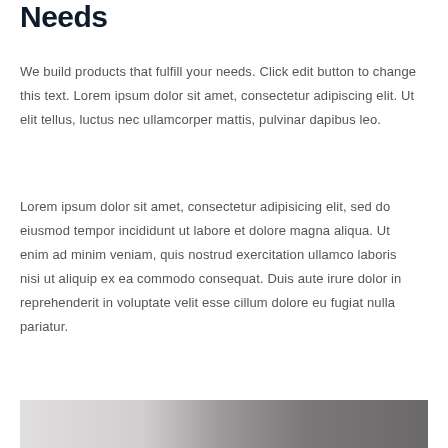Needs
We build products that fulfill your needs. Click edit button to change this text. Lorem ipsum dolor sit amet, consectetur adipiscing elit. Ut elit tellus, luctus nec ullamcorper mattis, pulvinar dapibus leo.
Lorem ipsum dolor sit amet, consectetur adipisicing elit, sed do eiusmod tempor incididunt ut labore et dolore magna aliqua. Ut enim ad minim veniam, quis nostrud exercitation ullamco laboris nisi ut aliquip ex ea commodo consequat. Duis aute irure dolor in reprehenderit in voluptate velit esse cillum dolore eu fugiat nulla pariatur.
[Figure (photo): A blurred photograph, partially showing light and dark tones, cut off at bottom of page.]